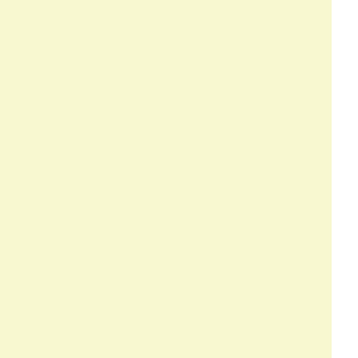dock-wall; and with no cognizance of the d... the spars and sails--no thought of the sext... the captain--no perception of the lookout ... horizon. With no vision of objects far avoided--destinations to be reached--othe... means other than by bodily contact--a regi... space, or perception, and of intelligence u... below the waterlin...
We ask our students to read carefully the ab... Lodge, for it gives one of the clearest and m... actual state of affairs concerning the mental... Western writings...
And other Western writers have noted and sp... realms. Lewes has said: "It is very certai... volition--every act that is so characterize... quite unconscious. It is equally certain tha... are unconscious processes of reproductio... middle distance of sub-consciousness... unconsciousness...
Taine has told us that: "Mental events imper... far more numerous than the others, and of... being we only perceive the highest points... continent whose lower levels remain in th... sensations are their components, that i... sensations, which must be combined i... consciousness.'